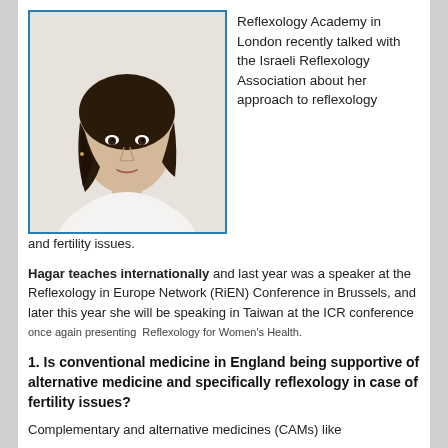[Figure (photo): Portrait photo of a woman with dark hair wearing a white top, framed with a blue border]
Reflexology Academy in London recently talked with the Israeli Reflexology Association about her approach to reflexology and fertility issues.
Hagar teaches internationally and last year was a speaker at the Reflexology in Europe Network (RiEN) Conference in Brussels, and later this year she will be speaking in Taiwan at the ICR conference once again presenting Reflexology for Women's Health.
1. Is conventional medicine in England being supportive of alternative medicine and specifically reflexology in case of fertility issues?
Complementary and alternative medicines (CAMs) like